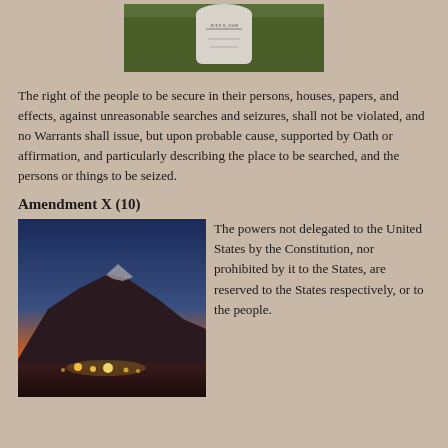[Figure (photo): A gravestone or memorial marker photographed outdoors on grass, with text partially visible including what appears to be a date.]
The right of the people to be secure in their persons, houses, papers, and effects, against unreasonable searches and seizures, shall not be violated, and no Warrants shall issue, but upon probable cause, supported by Oath or affirmation, and particularly describing the place to be searched, and the persons or things to be seized.
Amendment X (10)
[Figure (photo): A nighttime or twilight landscape photo showing a large snow-capped mountain range silhouetted against an orange and blue sky, with lights from buildings or a town visible at the base.]
The powers not delegated to the United States by the Constitution, nor prohibited by it to the States, are reserved to the States respectively, or to the people.